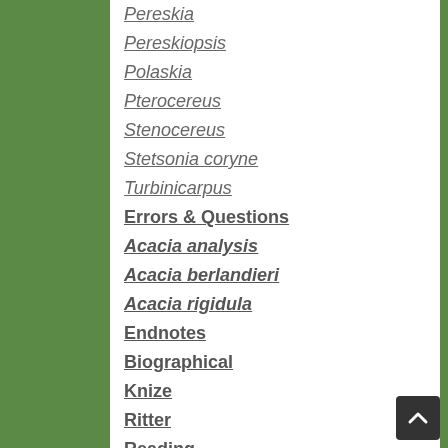Pereskia
Pereskiopsis
Polaskia
Pterocereus
Stenocereus
Stetsonia coryne
Turbinicarpus
Errors & Questions
Acacia analysis
Acacia berlandieri
Acacia rigidula
Endnotes
Biographical
Knize
Ritter
Reading
Inquisition
Music
Spaeth
McLaughlin